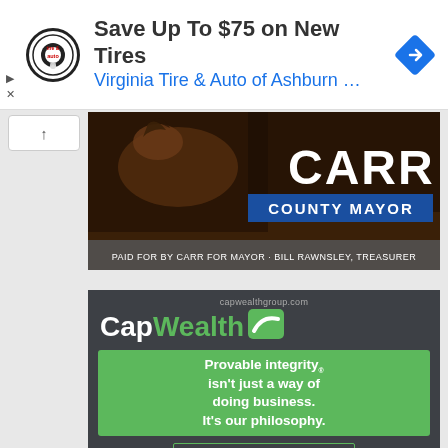[Figure (screenshot): Top banner ad for Virginia Tire & Auto of Ashburn with logo and blue arrow icon. Text: 'Save Up To $75 on New Tires' and 'Virginia Tire & Auto of Ashburn ...']
[Figure (screenshot): Carr County Mayor political ad with horse image. Text: 'CARR COUNTY MAYOR' and 'PAID FOR BY CARR FOR MAYOR · BILL RAWNSLEY, TREASURER']
[Figure (screenshot): CapWealth financial ad on dark background. URL: capwealthgroup.com. Logo: 'CapWealth' with green icon. Tagline: 'Provable integrity® isn't just a way of doing business. It's our philosophy.' Button: 'SEE WHAT MAKES US DIFFERENT']